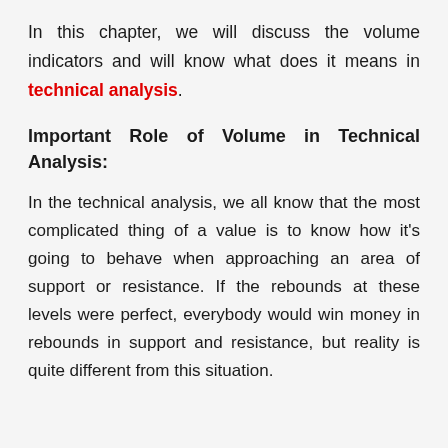In this chapter, we will discuss the volume indicators and will know what does it means in technical analysis.
Important Role of Volume in Technical Analysis:
In the technical analysis, we all know that the most complicated thing of a value is to know how it's going to behave when approaching an area of support or resistance. If the rebounds at these levels were perfect, everybody would win money in rebounds in support and resistance, but reality is quite different from this situation.